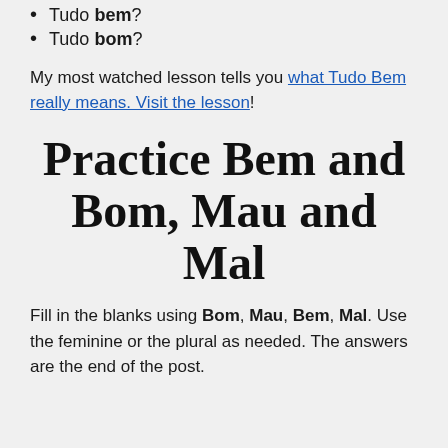Tudo bem?
Tudo bom?
My most watched lesson tells you what Tudo Bem really means. Visit the lesson!
Practice Bem and Bom, Mau and Mal
Fill in the blanks using Bom, Mau, Bem, Mal. Use the feminine or the plural as needed. The answers are the end of the post.